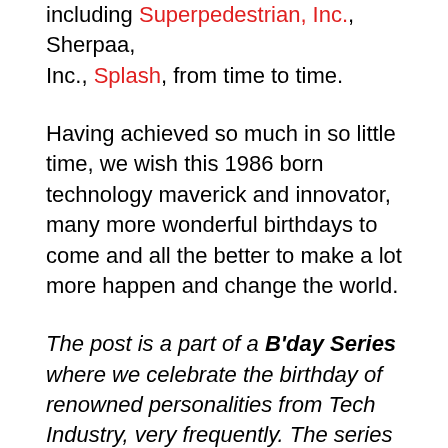including Superpedestrian, Inc., Sherpaa, Inc., Splash, from time to time.
Having achieved so much in so little time, we wish this 1986 born technology maverick and innovator, many more wonderful birthdays to come and all the better to make a lot more happen and change the world.
The post is a part of a B'day Series where we celebrate the birthday of renowned personalities from Tech Industry, very frequently. The series includes Entrepreneurs, C-level Executives, innovators or a renewed leaders who moved the industry with his exponential skill set and vision. The intent is to highlight the renowned...